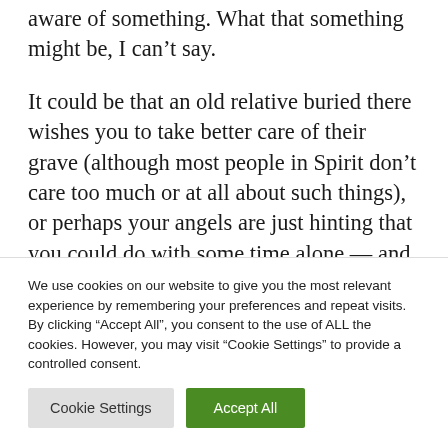aware of something. What that something might be, I can’t say.
It could be that an old relative buried there wishes you to take better care of their grave (although most people in Spirit don’t care too much or at all about such things), or perhaps your angels are just hinting that you could do with some time alone — and
We use cookies on our website to give you the most relevant experience by remembering your preferences and repeat visits. By clicking “Accept All”, you consent to the use of ALL the cookies. However, you may visit “Cookie Settings” to provide a controlled consent.
Cookie Settings
Accept All